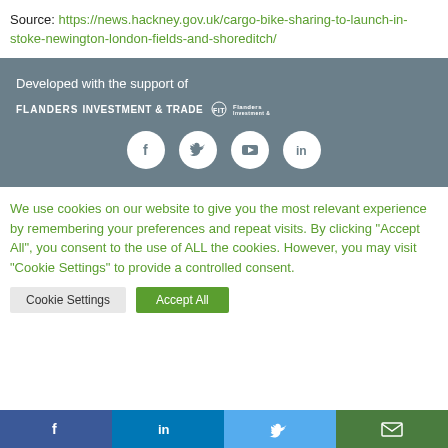Source: https://news.hackney.gov.uk/cargo-bike-sharing-to-launch-in-stoke-newington-london-fields-and-shoreditch/
Developed with the support of
FLANDERS INVESTMENT & TRADE
[Figure (infographic): Social media icons: Facebook, Twitter, YouTube, LinkedIn in white circles on grey background]
We use cookies on our website to give you the most relevant experience by remembering your preferences and repeat visits. By clicking “Accept All”, you consent to the use of ALL the cookies. However, you may visit "Cookie Settings" to provide a controlled consent.
[Figure (infographic): Cookie Settings and Accept All buttons]
Facebook | LinkedIn | Twitter | Email social sharing bar